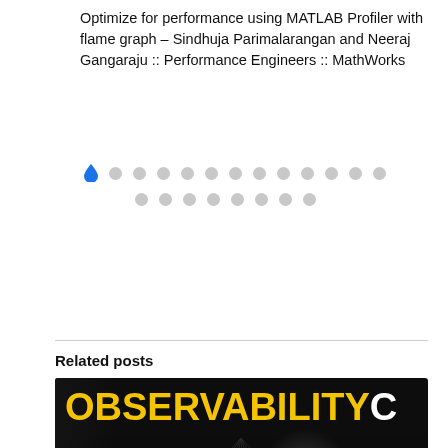Optimize for performance using MATLAB Profiler with flame graph – Sindhuja Parimalarangan and Neeraj Gangaraju :: Performance Engineers :: MathWorks
[Figure (other): Pagination dots with one blue active droplet icon and multiple grey circle dots in two rows]
Related posts
[Figure (photo): ObservabilityCON conference banner with yellow title text 'OBSERVABILITY' partially visible, white bold text reading 'WHY OBSERVABILITY IS THE VEHICLE TO MANAGE RESOURCES AND SPEND STRATEGICALLY, AND TO ENSURE YOU HAVE THE KEYS TO SWITCH TO EFFICIENT DATA', date 'SEPTEMBER 13' on dark background with a speaker portrait circle]